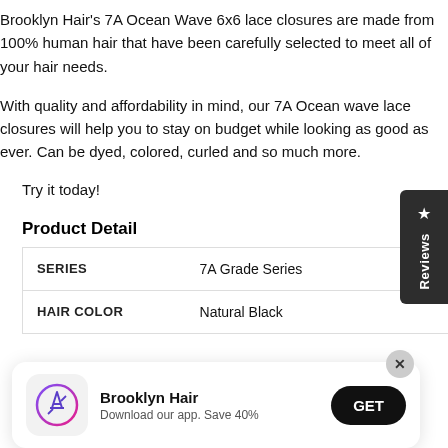Brooklyn Hair's 7A Ocean Wave 6x6 lace closures are made from 100% human hair that have been carefully selected to meet all of your hair needs.
With quality and affordability in mind, our 7A Ocean wave lace closures will help you to stay on budget while looking as good as ever. Can be dyed, colored, curled and so much more.
Try it today!
Product Detail
|  |  |
| --- | --- |
| SERIES | 7A Grade Series |
| HAIR COLOR | Natural Black |
[Figure (screenshot): App install banner for Brooklyn Hair app showing App Store icon, title 'Brooklyn Hair', subtitle 'Download our app. Save 40%', and GET button]
[Figure (other): Reviews sidebar tab with star icon and 'Reviews' text rotated vertically]